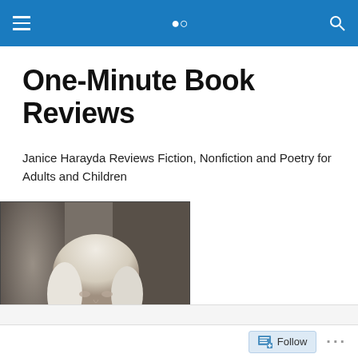One-Minute Book Reviews
Janice Harayda Reviews Fiction, Nonfiction and Poetry for Adults and Children
[Figure (photo): Black and white portrait photo of a woman with blonde hair wearing a dark top, standing in front of a brick wall with foliage]
TAGGED WITH PICTURE BOOKS
Follow ...